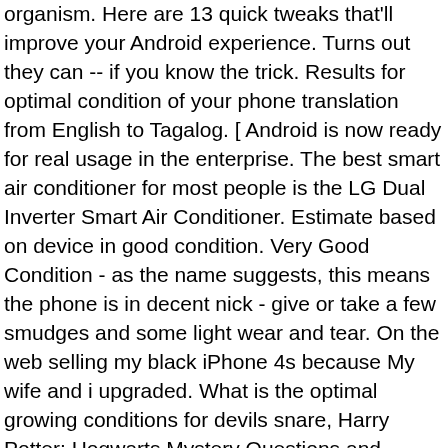organism. Here are 13 quick tweaks that'll improve your Android experience. Turns out they can -- if you know the trick. Results for optimal condition of your phone translation from English to Tagalog. [ Android is now ready for real usage in the enterprise. The best smart air conditioner for most people is the LG Dual Inverter Smart Air Conditioner. Estimate based on device in good condition. Very Good Condition - as the name suggests, this means the phone is in decent nick - give or take a few smudges and some light wear and tear. On the web selling my black iPhone 4s because My wife and i upgraded. What is the optimal growing conditions for devils snare, Harry Potter: Hogwarts Mystery Questions and answers, iPhone/iPad We test and rate hundreds of mobile phones each year. record data. Fire it up, and watch your phone's stamina improve. Most Android phones ship with decent virtual keyboards, but nine times out of 10, you can find one that's better. Your phone's home screen is the starting point for everything you do, so why not make it work the way you want? It's simple and effective: No more wasted power -- and no more annoying instances of your screen automatically going dark when you're trying to read something. If you really want to get wild -- and don't mind getting geeky -- an app called Tasker takes it to another level. Find the best payout. 5 when the app gets to the select level page then stop timer 6 record time